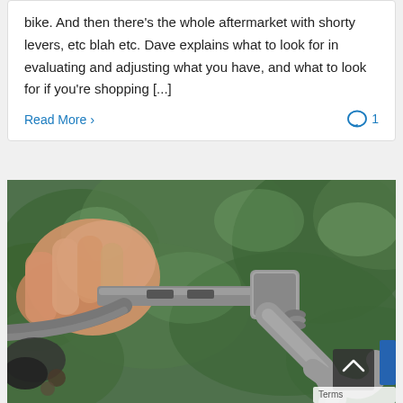bike. And then there's the whole aftermarket with shorty levers, etc blah etc. Dave explains what to look for in evaluating and adjusting what you have, and what to look for if you're shopping [...]
Read More  1
[Figure (photo): Close-up photo of a person's hand holding a bicycle brake lever mechanism, with greenery (conifer branches) in the background. The lever assembly shows metal components including a spring-loaded pivot and curved lever arm.]